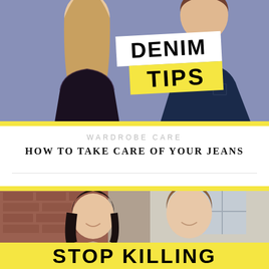[Figure (photo): Two people (woman with long blonde hair in black lace top, man in dark navy shirt) standing against a purple/blue background. A white banner with bold black text reads 'DENIM TIPS' with 'TIPS' on a yellow background. A yellow horizontal bar runs along the bottom edge of the image.]
WARDROBE CARE
HOW TO TAKE CARE OF YOUR JEANS
[Figure (photo): Two people (young Asian woman with shoulder-length dark hair smiling, young man with short hair in light shirt smiling) against a background with brick wall visible. A large yellow banner at the bottom reads 'STOP KILLING' in bold black text. A yellow horizontal bar runs along the top edge of the image.]